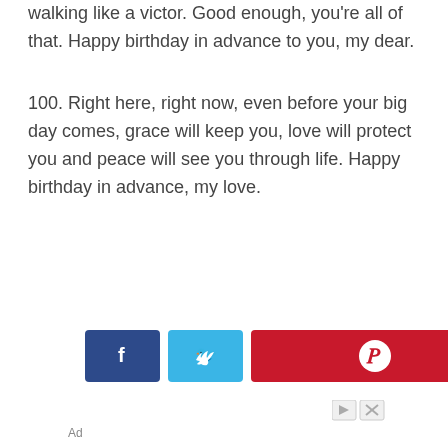walking like a victor. Good enough, you're all of that. Happy birthday in advance to you, my dear.
100. Right here, right now, even before your big day comes, grace will keep you, love will protect you and peace will see you through life. Happy birthday in advance, my love.
[Figure (infographic): Social sharing buttons: Facebook (dark blue), Twitter (light blue), Pinterest (red)]
[Figure (infographic): Ad controls with play and close buttons]
Ad